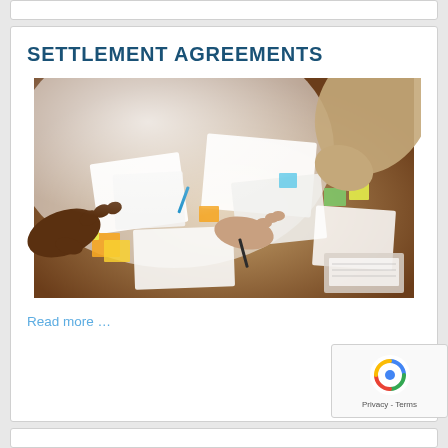SETTLEMENT AGREEMENTS
[Figure (photo): Overhead view of people at a table with papers, documents, and sticky notes spread out, hands visible reaching across the table]
Read more …